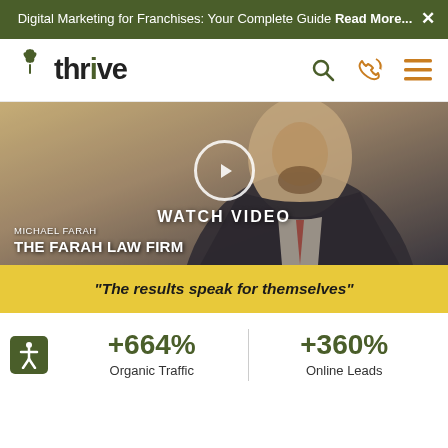Digital Marketing for Franchises: Your Complete Guide Read More...
[Figure (logo): Thrive agency logo with green leaf icon and bold 'thrive' wordmark]
[Figure (screenshot): Video thumbnail showing Michael Farah of The Farah Law Firm with WATCH VIDEO overlay and play button]
"The results speak for themselves"
+664% Organic Traffic
+360% Online Leads